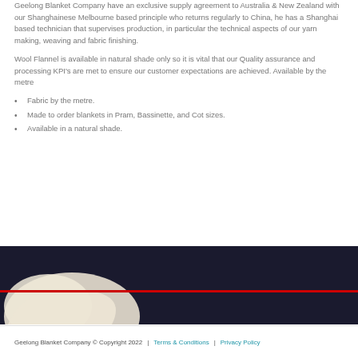Geelong Blanket Company have an exclusive supply agreement to Australia & New Zealand with our Shanghainese Melbourne based principle who returns regularly to China, he has a Shanghai based technician that supervises production, in particular the technical aspects of our yarn making, weaving and fabric finishing.
Wool Flannel is available in natural shade only so it is vital that our Quality assurance and processing KPI's are met to ensure our customer expectations are achieved. Available by the metre
Fabric by the metre.
Made to order blankets in Pram, Bassinette, and Cot sizes.
Available in a natural shade.
[Figure (photo): Dark navy/black background with a white/cream fabric shape visible in the lower left corner, representing wool flannel fabric.]
Geelong Blanket Company © Copyright 2022  |  Terms & Conditions  |  Privacy Policy